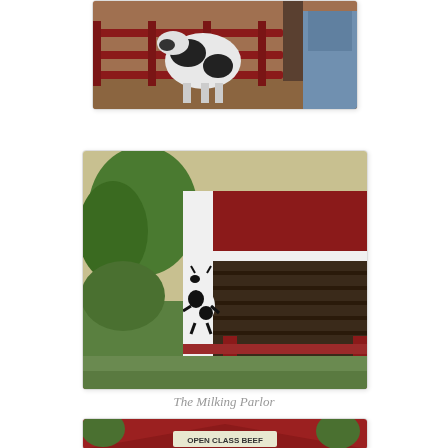[Figure (photo): A black and white dairy cow standing behind red metal fence rails in what appears to be a barn or pen, with a person partially visible on the right.]
[Figure (photo): A red painted barn building with a cartoon cow painted on the white door frame area. Red wooden fence rails in the foreground, green trees visible on the left side. This is the Milking Parlor.]
The Milking Parlor
[Figure (photo): A red barn structure with a sign reading 'OPEN CLASS BEEF', with trees in the background and people visible near the entrance.]